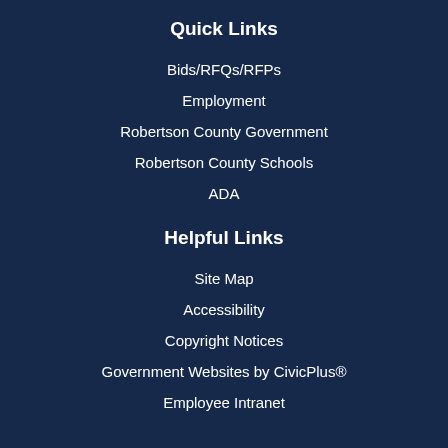Quick Links
Bids/RFQs/RFPs
Employment
Robertson County Government
Robertson County Schools
ADA
Helpful Links
Site Map
Accessibility
Copyright Notices
Government Websites by CivicPlus®
Employee Intranet